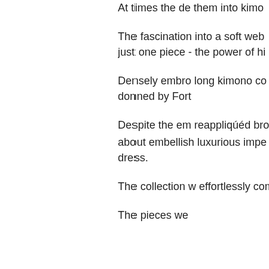At times the de them into kimo
The fascination into a soft web just one piece - the power of hi
Densely embro long kimono co donned by Fort
Despite the em reappliquéd bro about embellish luxurious impe dress.
The collection w effortlessly com
The pieces we